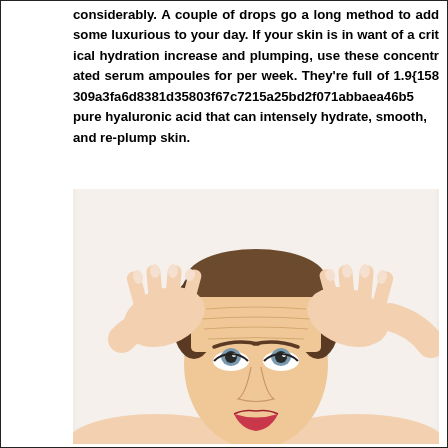considerably. A couple of drops go a long method to add some luxurious to your day. If your skin is in want of a critical hydration increase and plumping, use these concentrated serum ampoules for per week. They're full of 1.9{158309a3fa6d8381d35803f67c7215a25bd2f071abbaea46b5e pure hyaluronic acid that can intensely hydrate, smooth, and re-plump skin.
[Figure (photo): A woman with both hands raised to her forehead, fingers pressing against her skin showing forehead wrinkles, looking upward with styled hair pulled back, wearing red lipstick, white background.]